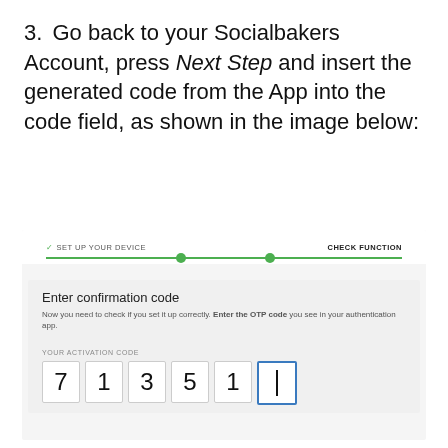3. Go back to your Socialbakers Account, press Next Step and insert the generated code from the App into the code field, as shown in the image below:
[Figure (screenshot): Screenshot of a two-step verification UI showing a progress bar with 'Set Up Your Device' (checked) and 'Check Function' steps, and a form titled 'Enter confirmation code' with instruction text 'Now you need to check if you set it up correctly. Enter the OTP code you see in your authentication app.' Below is a label 'YOUR ACTIVATION CODE' and six digit input boxes showing digits 7, 1, 3, 5, 1 and a cursor in the last box.]